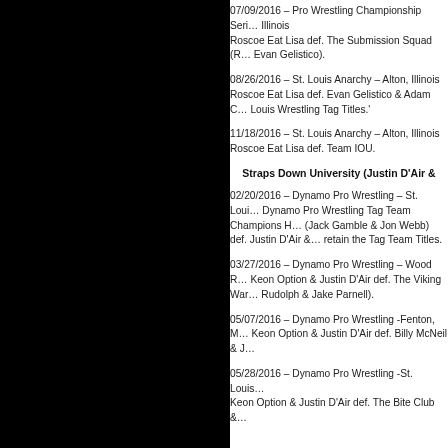07/09/2016 – Pro Wrestling Championship Series – Illinois
Roscoe Eat Lisa def. The Submission Squad (R... Evan Gelistico).
08/26/2016 – St. Louis Anarchy – Alton, Illinois
Roscoe Eat Lisa def. Evan Gelistico & Adam C... Louis Wrestling Tag Titles.'
11/18/2016 – St. Louis Anarchy – Alton, Illinois
Roscoe Eat Lisa def. Team IOU.
Straps Down University (Justin D'Air &...
02/20/2016 – Dynamo Pro Wrestling – St. Louis...
Dynamo Pro Wrestling Tag Team Champions H... (Jack Gamble & Jon Webb) def. Justin D'Air &... retain the Tag Team Titles.
03/27/2016 – Dynamo Pro Wrestling – Wood R...
Keon Option & Justin D'Air def. The Viking War... Rudolph & Jake Parnell).
05/07/2016 – Dynamo Pro Wrestling -Fenton, M...
Keon Option & Justin D'Air def. Billy McNeil & J...
05/28/2016 – Dynamo Pro Wrestling -St. Louis...
Keon Option & Justin D'Air def. The Bite Club &...